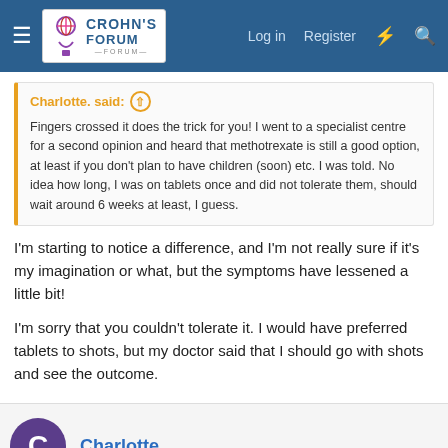Crohn's Forum — Log in  Register
Charlotte. said: ↑
Fingers crossed it does the trick for you! I went to a specialist centre for a second opinion and heard that methotrexate is still a good option, at least if you don't plan to have children (soon) etc. I was told. No idea how long, I was on tablets once and did not tolerate them, should wait around 6 weeks at least, I guess.
I'm starting to notice a difference, and I'm not really sure if it's my imagination or what, but the symptoms have lessened a little bit!
I'm sorry that you couldn't tolerate it. I would have preferred tablets to shots, but my doctor said that I should go with shots and see the outcome.
Charlotte.